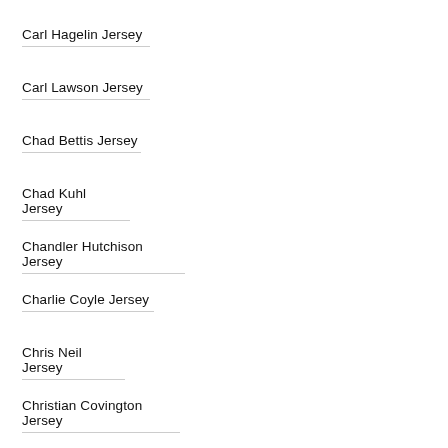Carl Hagelin Jersey
Carl Lawson Jersey
Chad Bettis Jersey
Chad Kuhl Jersey
Chandler Hutchison Jersey
Charlie Coyle Jersey
Chris Neil Jersey
Christian Covington Jersey